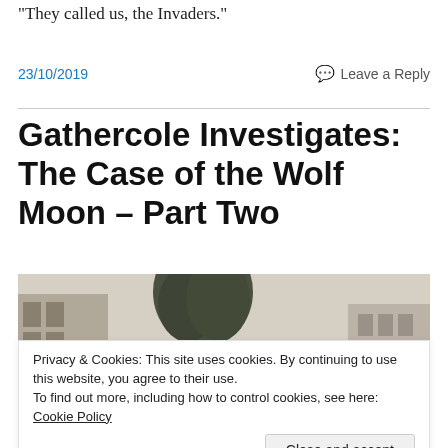“They called us, the Invaders.”
23/10/2019
Leave a Reply
Gathercole Investigates: The Case of the Wolf Moon – Part Two
[Figure (photo): Black and white photograph showing a large building with trees in front, historical period.]
Privacy & Cookies: This site uses cookies. By continuing to use this website, you agree to their use.
To find out more, including how to control cookies, see here: Cookie Policy
Close and accept
[Figure (photo): Black and white photograph showing a group of people, partially visible at bottom of page.]